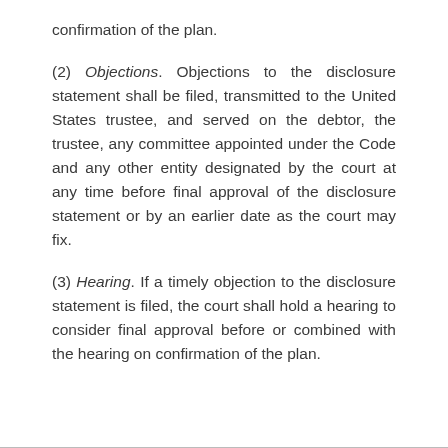confirmation of the plan.
(2) Objections. Objections to the disclosure statement shall be filed, transmitted to the United States trustee, and served on the debtor, the trustee, any committee appointed under the Code and any other entity designated by the court at any time before final approval of the disclosure statement or by an earlier date as the court may fix.
(3) Hearing. If a timely objection to the disclosure statement is filed, the court shall hold a hearing to consider final approval before or combined with the hearing on confirmation of the plan.